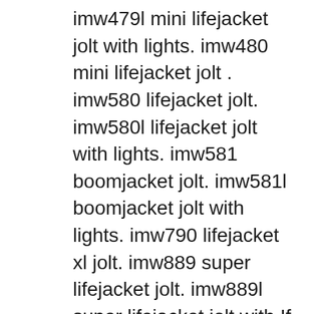imw479l mini lifejacket jolt with lights. imw480 mini lifejacket jolt . imw580 lifejacket jolt. imw580l lifejacket jolt with lights. imw581 boomjacket jolt. imw581l boomjacket jolt with lights. imw790 lifejacket xl jolt. imw889 super lifejacket jolt. imw889l super lifejacket jolt with If the BoomJacket 2 does not power on when you press the power button, it could mean that the battery has been completely drained. Plug the power adapter into both the speaker and a working wall receptacle. If the charging status light appears and the device powers on, the battery was drained and will need to be fully charged.